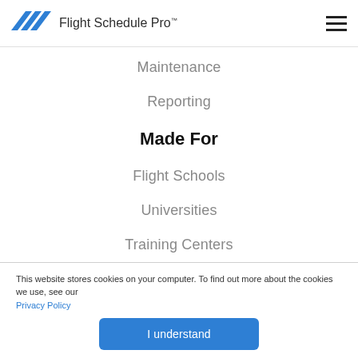Flight Schedule Pro™
Maintenance
Reporting
Made For
Flight Schools
Universities
Training Centers
Flying Clubs
This website stores cookies on your computer. To find out more about the cookies we use, see our Privacy Policy
I understand